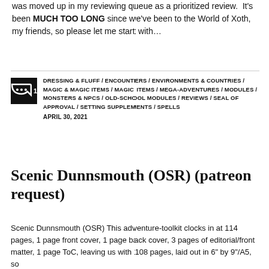was moved up in my reviewing queue as a prioritized review.  It's been MUCH TOO LONG since we've been to the World of Xoth, my friends, so please let me start with…
DRESSING & FLUFF / ENCOUNTERS / ENVIRONMENTS & COUNTRIES / MAGIC & MAGIC ITEMS / MAGIC ITEMS / MEGA-ADVENTURES / MODULES / MONSTERS & NPCS / OLD-SCHOOL MODULES / REVIEWS / SEAL OF APPROVAL / SETTING SUPPLEMENTS / SPELLS
APRIL 30, 2021
Scenic Dunnsmouth (OSR) (patreon request)
Scenic Dunnsmouth (OSR) This adventure-toolkit clocks in at 114 pages, 1 page front cover, 1 page back cover, 3 pages of editorial/front matter, 1 page ToC, leaving us with 108 pages, laid out in 6" by 9"/A5, so